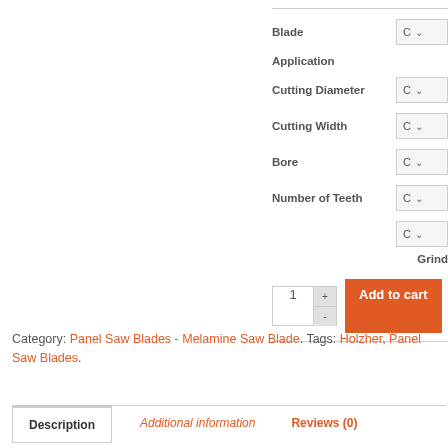[Figure (screenshot): Product configuration form with dropdowns for Blade Application, Cutting Diameter, Cutting Width, Bore, Number of Teeth, Grind fields, a quantity input with +/- buttons, and an Add to cart button.]
Category: Panel Saw Blades - Melamine Saw Blade. Tags: Holzher, Panel Saw Blades.
Description | Additional information | Reviews (0)